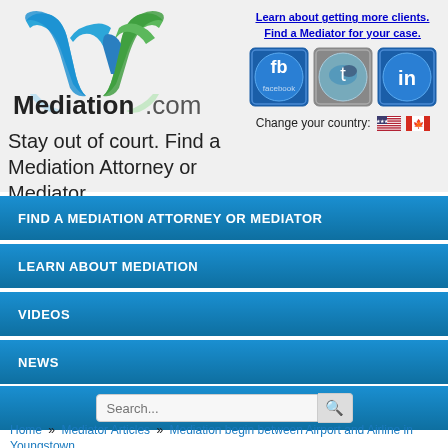[Figure (logo): Mediation.com logo with blue and green M lettermark and bold text 'Mediation.com']
Learn about getting more clients.
Find a Mediator for your case.
[Figure (infographic): Social media icons: Facebook, Twitter, LinkedIn]
Change your country: 🇺🇸 🇨🇦
Stay out of court. Find a Mediation Attorney or Mediator.
FIND A MEDIATION ATTORNEY OR MEDIATOR
LEARN ABOUT MEDIATION
VIDEOS
NEWS
Search...
Home » Mediator Articles » Mediation begin between Airport and Airline in Youngstown